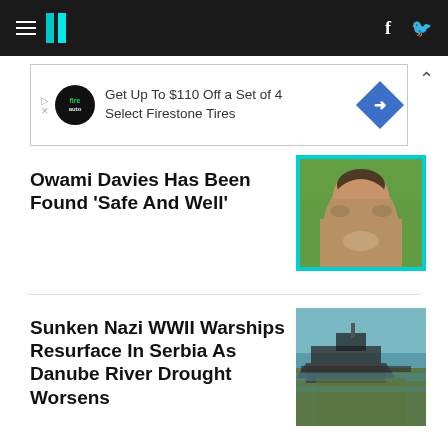HuffPost navigation header with hamburger menu, logo, Facebook and Twitter icons
[Figure (screenshot): Advertisement banner: Get Up To $110 Off a Set of 4 Select Firestone Tires, with Firestone auto logo and blue diamond navigation icon]
Owami Davies Has Been Found 'Safe And Well'
[Figure (photo): Photo of a smiling Black woman with grey braided hair against green foliage background, with teal border]
Sunken Nazi WWII Warships Resurface In Serbia As Danube River Drought Worsens
[Figure (photo): Aerial photo of sunken warship wreckage visible in a river with low water levels]